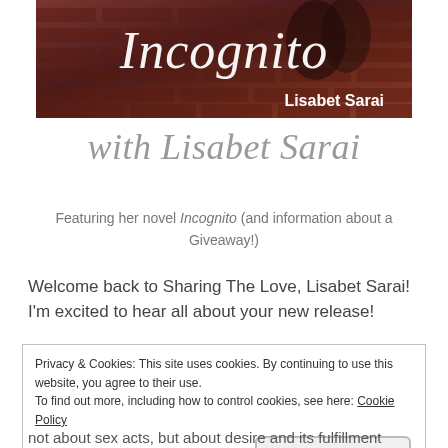[Figure (illustration): Book cover for 'Incognito' by Lisabet Sarai showing a couple against a brick wall background with stylized italic title text and author name in white.]
with Lisabet Sarai
Featuring her novel Incognito (and information about a Giveaway!)
Welcome back to Sharing The Love, Lisabet Sarai! I'm excited to hear all about your new release!
Privacy & Cookies: This site uses cookies. By continuing to use this website, you agree to their use.
To find out more, including how to control cookies, see here: Cookie Policy
Close and accept
not about sex acts, but about desire and its fulfillment